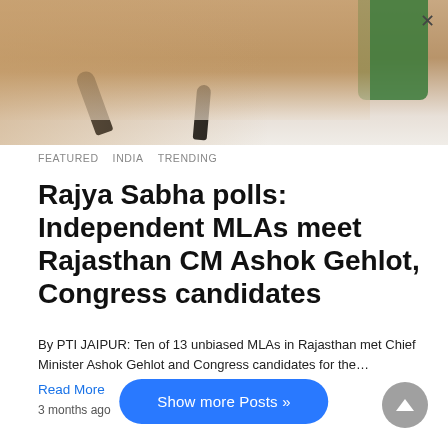[Figure (photo): Close-up photo of a man near microphones with a green element visible on the right side. An X close button is visible in the top right corner.]
FEATURED   INDIA   TRENDING
Rajya Sabha polls: Independent MLAs meet Rajasthan CM Ashok Gehlot, Congress candidates
By PTI JAIPUR: Ten of 13 unbiased MLAs in Rajasthan met Chief Minister Ashok Gehlot and Congress candidates for the…
Read More
3 months ago
Show more Posts »